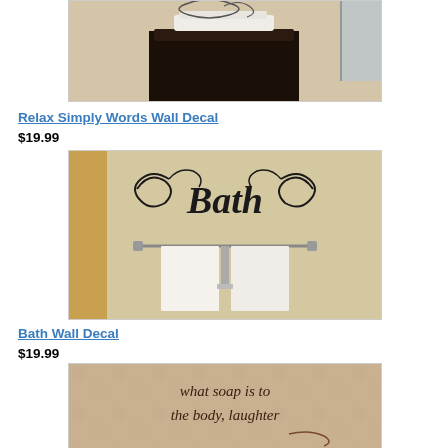[Figure (photo): Photo of a bathroom with a wall decal above a dark cabinet with towels on top, partially cropped at top]
Relax Simply Words Wall Decal
$19.99
[Figure (photo): Photo of a bathroom wall with a decorative 'Bath' script wall decal above a towel rack with white towels hanging]
Bath Wall Decal
$19.99
[Figure (photo): Photo of a decorative script wall decal reading 'what soap is to the body, laughter...' on a textured wall, partially cropped]